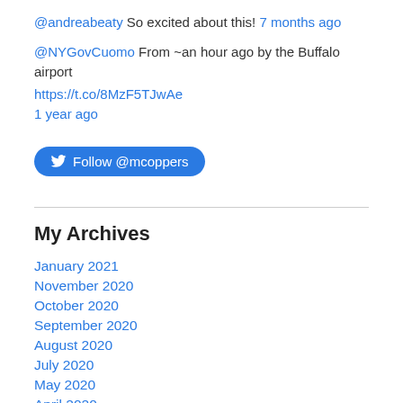@andreabeaty So excited about this! 7 months ago
@NYGovCuomo From ~an hour ago by the Buffalo airport https://t.co/8MzF5TJwAe 1 year ago
[Figure (other): Follow @mcoppers Twitter button]
My Archives
January 2021
November 2020
October 2020
September 2020
August 2020
July 2020
May 2020
April 2020
March 2020
November 2019
September 2019